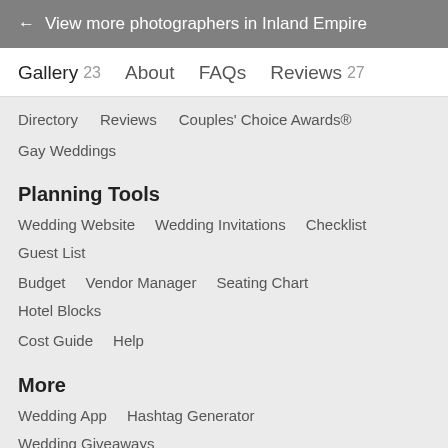← View more photographers in Inland Empire
Gallery 23
About
FAQs
Reviews 27
Directory
Reviews
Couples' Choice Awards®
Gay Weddings
Planning Tools
Wedding Website
Wedding Invitations
Checklist
Guest List
Budget
Vendor Manager
Seating Chart
Hotel Blocks
Cost Guide
Help
More
Wedding App
Hashtag Generator
Wedding Giveaways
Wedding Timeline
Color Generator
Real Weddings
Honeymoons